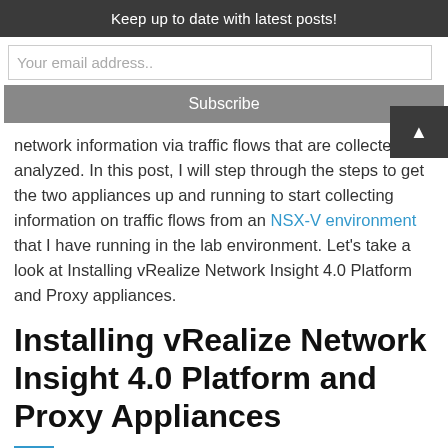Keep up to date with latest posts!
Your email address..
Subscribe
network information via traffic flows that are collected and analyzed. In this post, I will step through the steps to get the two appliances up and running to start collecting information on traffic flows from an NSX-V environment that I have running in the lab environment. Let’s take a look at Installing vRealize Network Insight 4.0 Platform and Proxy appliances.
Installing vRealize Network Insight 4.0 Platform and Proxy Appliances